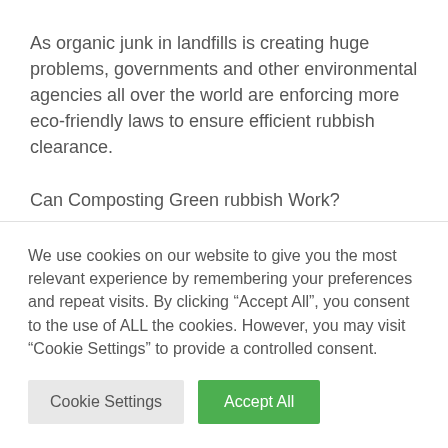As organic junk in landfills is creating huge problems, governments and other environmental agencies all over the world are enforcing more eco-friendly laws to ensure efficient rubbish clearance.
Can Composting Green rubbish Work?
The alternative to trashing your green rubbish can
We use cookies on our website to give you the most relevant experience by remembering your preferences and repeat visits. By clicking “Accept All”, you consent to the use of ALL the cookies. However, you may visit “Cookie Settings” to provide a controlled consent.
Cookie Settings | Accept All